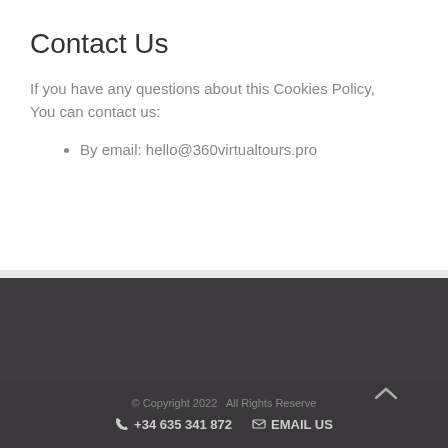Contact Us
If you have any questions about this Cookies Policy, You can contact us:
By email: hello@360virtualtours.pro
© Copyright 2022   All Rights Reserve
☏ +34 635 341 872    EMAIL US